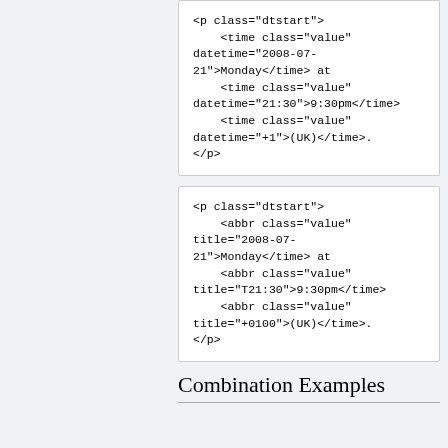<p class="dtstart">
    <time class="value" datetime="2008-07-21">Monday</time> at
    <time class="value" datetime="21:30">9:30pm</time>
    <time class="value" datetime="+1">(UK)</time>.
</p>
<p class="dtstart">
    <abbr class="value" title="2008-07-21">Monday</time> at
    <abbr class="value" title="T21:30">9:30pm</time>
    <abbr class="value" title="+0100">(UK)</time>.
</p>
Combination Examples